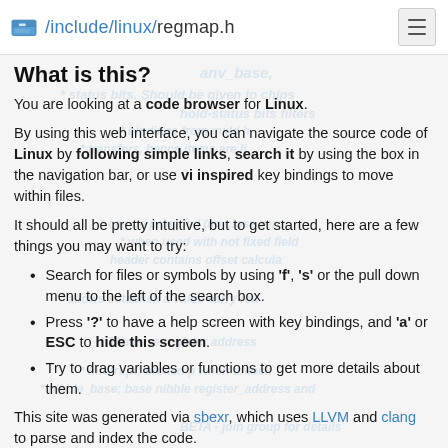/include/linux/regmap.h
What is this?
You are looking at a code browser for Linux.
By using this web interface, you can navigate the source code of Linux by following simple links, search it by using the box in the navigation bar, or use vi inspired key bindings to move within files.
It should all be pretty intuitive, but to get started, here are a few things you may want to try:
Search for files or symbols by using 'f', 's' or the pull down menu to the left of the search box.
Press '?' to have a help screen with key bindings, and 'a' or ESC to hide this screen.
Try to drag variables or functions to get more details about them.
This site was generated via sbexr, which uses LLVM and clang to parse and index the code.
sbexr is free software (as in "free speech"), under heavy development, sbexr.com and the Linux kernel source code